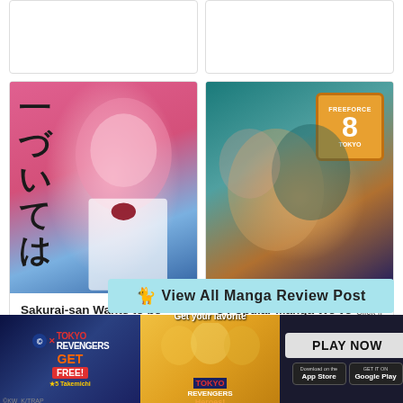[Figure (illustration): Two partially visible card thumbnails at top (cropped)]
[Figure (illustration): Manga cover art for Sakurai-san Wants to be Noticed - pink-haired anime girl in school uniform with Japanese text overlay]
Sakurai-san Wants to be Noticed Vol 1 [Manga] Review - Flirty Rom-Com Fun
[Figure (illustration): Fire Force manga group illustration with FREEFORCE 8 TOKYO badge, characters in teal firefighter uniforms]
3 Popular Manga We've Been Sleeping On
Click if you like this post
[Figure (illustration): Heart/like button icon]
View All Manga Review Post
[Figure (advertisement): Tokyo Revengers game advertisement banner with Play Now button and App Store / Google Play badges]